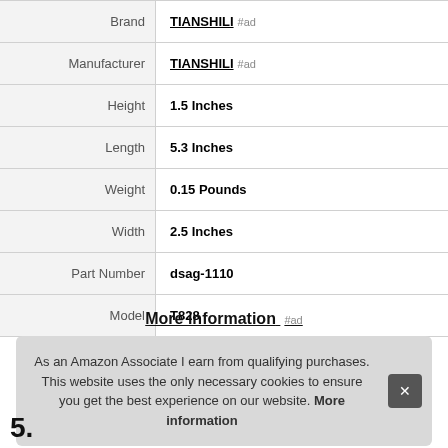| Attribute | Value |
| --- | --- |
| Brand | TIANSHILI #ad |
| Manufacturer | TIANSHILI #ad |
| Height | 1.5 Inches |
| Length | 5.3 Inches |
| Weight | 0.15 Pounds |
| Width | 2.5 Inches |
| Part Number | dsag-1110 |
| Model | T828 |
More information #ad
As an Amazon Associate I earn from qualifying purchases. This website uses the only necessary cookies to ensure you get the best experience on our website. More information